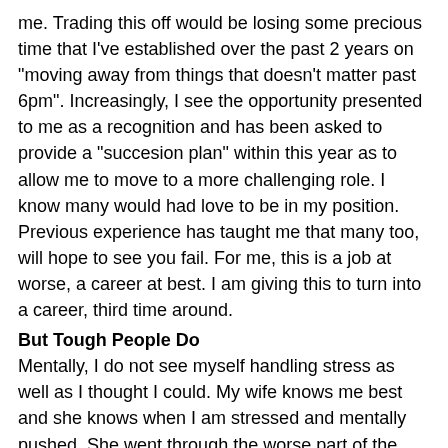me. Trading this off would be losing some precious time that I've established over the past 2 years on "moving away from things that doesn't matter past 6pm". Increasingly, I see the opportunity presented to me as a recognition and has been asked to provide a "succesion plan" within this year as to allow me to move to a more challenging role. I know many would had love to be in my position. Previous experience has taught me that many too, will hope to see you fail. For me, this is a job at worse, a career at best. I am giving this to turn into a career, third time around.
But Tough People Do
Mentally, I do not see myself handling stress as well as I thought I could. My wife knows me best and she knows when I am stressed and mentally pushed. She went through the worse part of the time where I have nightmare and address her as my "project manager". Waking up in cold sweat about the thoughts of being blamed for all (other) failures while swallowing my own. Those were the days I hope I do not and will not go through again. Alas, I learnt that all these is a choice. For me, my passion in triathlon, blogging (and social media), branding and photography will not pay the bills at home. Not even going to pay for the kids'